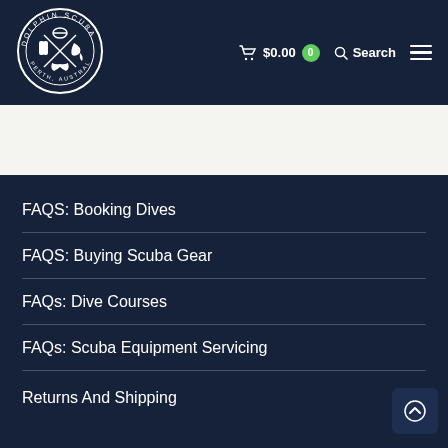[Figure (logo): Dolphin Scuba Perth Australia circular logo in white on dark navy background]
$0.00  0  Search
FAQS: Booking Dives
FAQS: Buying Scuba Gear
FAQs: Dive Courses
FAQs: Scuba Equipment Servicing
Returns And Shipping